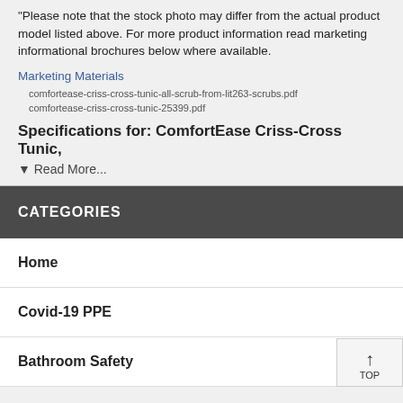"Please note that the stock photo may differ from the actual product model listed above. For more product information read marketing informational brochures below where available.
Marketing Materials
comfortease-criss-cross-tunic-all-scrub-from-lit263-scrubs.pdf
comfortease-criss-cross-tunic-25399.pdf
Specifications for: ComfortEase Criss-Cross Tunic,
▼ Read More...
CATEGORIES
Home
Covid-19 PPE
Bathroom Safety